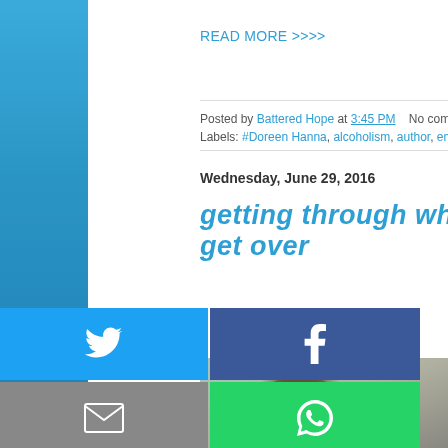READ MORE >>>>
Posted by Battered Hope at 3:45 PM   No comments:
Labels: #Doreen Hanna, alcoholism, author, empowerment, inspiration, me...
Wednesday, June 29, 2016
GETTING THROUGH WHAT YOU CAN'T GET OVER
[Figure (screenshot): Social media share buttons: Twitter (blue), Facebook (dark blue), Email (gray), WhatsApp (green), SMS (blue), other (green). Person's head visible in background image.]